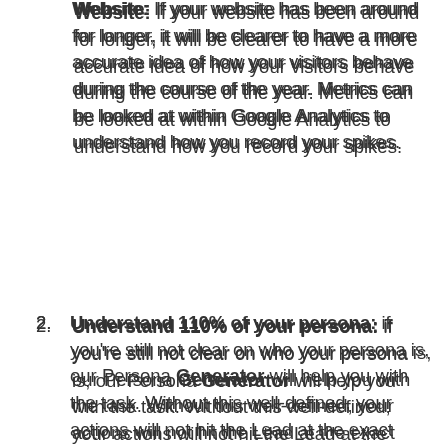Website: If your website has been around for longer, it will be clearer to have a more accurate idea of how your visitors behave during the course of the year. Metrics can be looked at within Google Analytics to understand how you record your spikes.
Understand 110% of your persona: if you're still not clear on who your persona is, our Persona Generator will help you with the task. Without this well-defined, your actions will not hit the Lead at the exact moment to have a personalized and accurate communication.
Understand the persona's main habits not only when she is consuming or thinking about consuming your product or service, but mainly how she behaves and what her interests are when she is not thinking about you — that is, when it is not time to consume ice